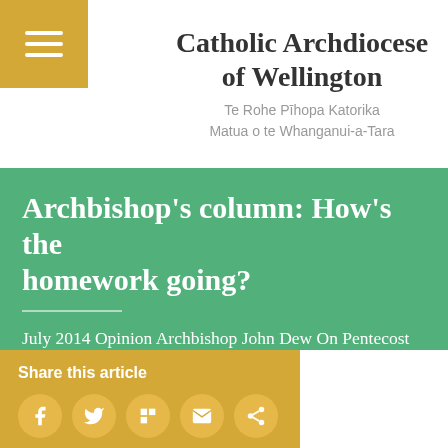Catholic Archdiocese of Wellington
Te Rohe Pīhopa Katorika
Matua o te Whanganui-a-Tara
Archbishop's column: How's the homework going?
July 2014 Opinion Archbishop John Dew On Pentecost Sunday, I welcomed a large number of new Catholics to the wider family of the Archdiocese at a special 'Welcome to New…
Share this article